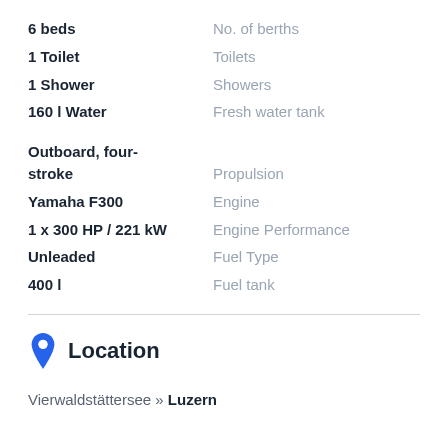6 beds — No. of berths
1 Toilet — Toilets
1 Shower — Showers
160 l Water — Fresh water tank
Outboard, four-stroke — Propulsion
Yamaha F300 — Engine
1 x 300 HP / 221 kW — Engine Performance
Unleaded — Fuel Type
400 l — Fuel tank
Location
Vierwaldstättersee » Luzern